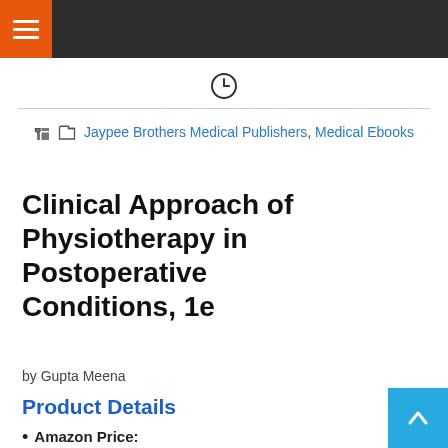Navigation bar with hamburger menu
[Figure (other): Clock/time icon]
Jaypee Brothers Medical Publishers, Medical Ebooks
Clinical Approach of Physiotherapy in Postoperative Conditions, 1e
by Gupta Meena
Product Details
Amazon Price:
$86.0